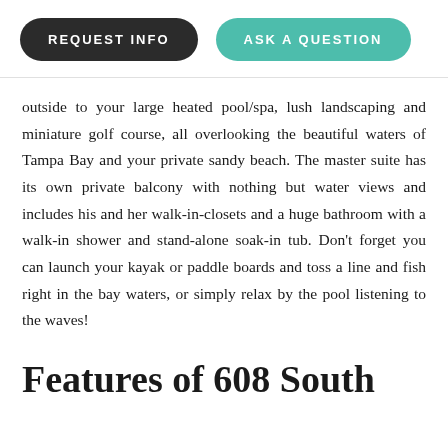[Figure (other): Two buttons: REQUEST INFO (dark/black pill button) and ASK A QUESTION (teal pill button)]
outside to your large heated pool/spa, lush landscaping and miniature golf course, all overlooking the beautiful waters of Tampa Bay and your private sandy beach. The master suite has its own private balcony with nothing but water views and includes his and her walk-in-closets and a huge bathroom with a walk-in shower and stand-alone soak-in tub. Don't forget you can launch your kayak or paddle boards and toss a line and fish right in the bay waters, or simply relax by the pool listening to the waves!
Features of 608 South